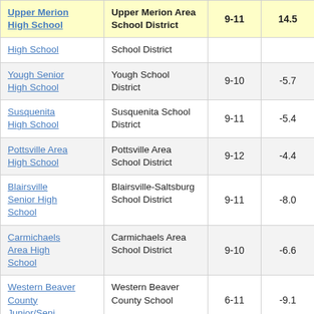| School | District | Grades | Value |
| --- | --- | --- | --- |
| Upper Merion High School | Upper Merion Area School District | 9-11 | 14.5 |
| High School | School District |  |  |
| Yough Senior High School | Yough School District | 9-10 | -5.7 |
| Susquenita High School | Susquenita School District | 9-11 | -5.4 |
| Pottsville Area High School | Pottsville Area School District | 9-12 | -4.4 |
| Blairsville Senior High School | Blairsville-Saltsburg School District | 9-11 | -8.0 |
| Carmichaels Area High School | Carmichaels Area School District | 9-10 | -6.6 |
| Western Beaver County Junior/Senior… | Western Beaver County School | 6-11 | -9.1 |